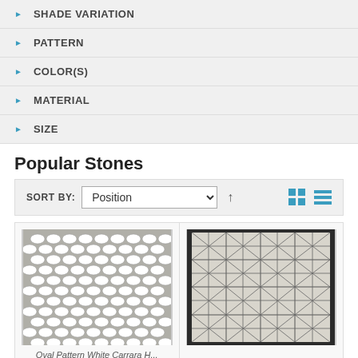SHADE VARIATION
PATTERN
COLOR(S)
MATERIAL
SIZE
Popular Stones
SORT BY: Position
[Figure (photo): Oval pattern white Carrara marble mosaic tile]
Oval Pattern White Carrara H...
[Figure (photo): Geometric pattern marble tile with diagonal lines in a grid, framed in dark border]